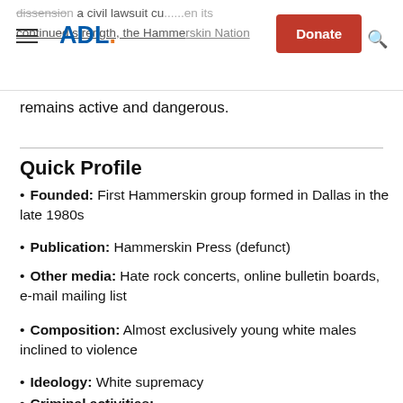dissension a civil lawsuit cu... en its continued strength, the Hammerskin Nation
remains active and dangerous.
Quick Profile
Founded: First Hammerskin group formed in Dallas in the late 1980s
Publication: Hammerskin Press (defunct)
Other media: Hate rock concerts, online bulletin boards, e-mail mailing list
Composition: Almost exclusively young white males inclined to violence
Ideology: White supremacy
Criminal activities: Members have committed...